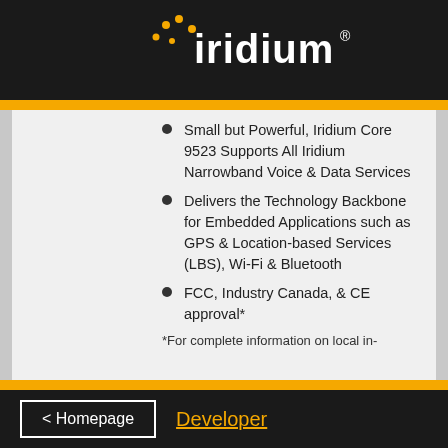[Figure (logo): Iridium company logo on black background with orange dot constellation graphic and white 'iridium' text with registered trademark symbol]
Small but Powerful, Iridium Core 9523 Supports All Iridium Narrowband Voice & Data Services
Delivers the Technology Backbone for Embedded Applications such as GPS & Location-based Services (LBS), Wi-Fi & Bluetooth
FCC, Industry Canada, & CE approval*
*For complete information on local in-
< Homepage   Developer